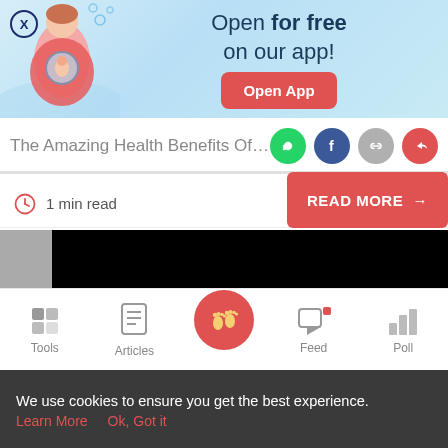[Figure (infographic): App advertisement banner with pregnant woman illustration. Text reads 'Open for free on our app!' with a red 'Open App' button and a close X button.]
The Amazing Health Benefits Of Man
1 min read
READ MORE →
[Figure (photo): Black redacted rectangle covering content area with a grey slide control arrow on the left.]
Singapore Da
Tools  Articles  Feed  Poll
We use cookies to ensure you get the best experience.
Learn More   Ok, Got it